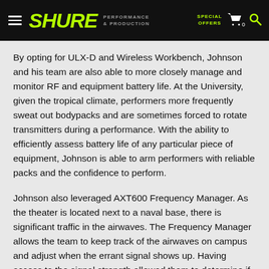SHURE | PERFORMANCE & PRODUCTION | SPECIAL OFFERS
By opting for ULX-D and Wireless Workbench, Johnson and his team are also able to more closely manage and monitor RF and equipment battery life. At the University, given the tropical climate, performers more frequently sweat out bodypacks and are sometimes forced to rotate transmitters during a performance. With the ability to efficiently assess battery life of any particular piece of equipment, Johnson is able to arm performers with reliable packs and the confidence to perform.
Johnson also leveraged AXT600 Frequency Manager. As the theater is located next to a naval base, there is significant traffic in the airwaves. The Frequency Manager allows the team to keep track of the airwaves on campus and adjust when the errant signal shows up. Having access to the signal strength allowed them to determine if it will be a